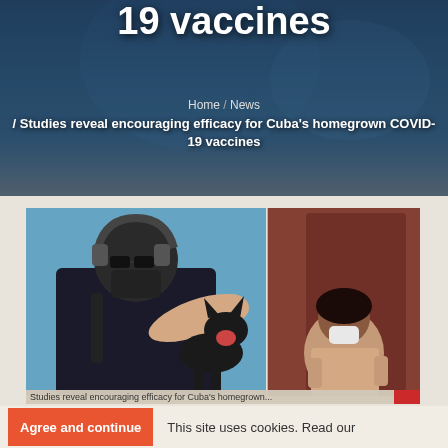19 vaccines
Home / News / Studies reveal encouraging efficacy for Cuba's homegrown COVID-19 vaccines
[Figure (photo): Two-panel photo: left shows a masked man with headphones and sunglasses pointing at camera with a black dog behind him, against a blue wall; right shows a woman in a white mask seated against a reddish-brown wall.]
Studies reveal encouraging efficacy for Cuba's homegrown...
Agree and continue
This site uses cookies. Read our
Call Us
Contact Us